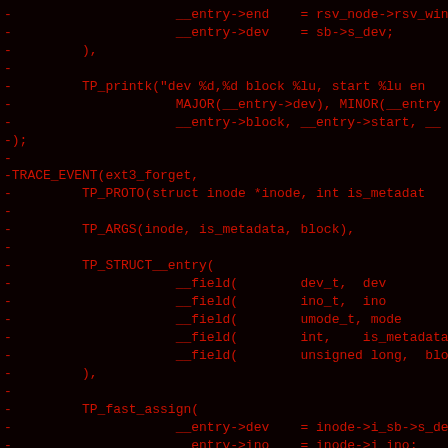[Figure (screenshot): Dark terminal/code diff view showing red-colored removed lines of C source code. The code shows parts of a Linux kernel trace event definition for ext3_forget, including TP_printk, TRACE_EVENT, TP_PROTO, TP_ARGS, TP_STRUCT__entry with field definitions, and TP_fast_assign with field assignments. Background is black, text is red.]